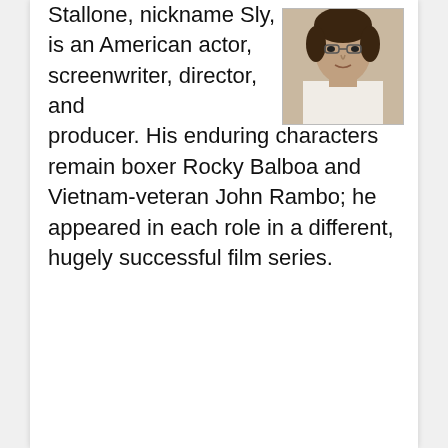[Figure (photo): Portrait photo of a man (Sylvester Stallone) in a white shirt, upper body, against a light background]
Stallone, nickname Sly, is an American actor, screenwriter, director, and producer. His enduring characters remain boxer Rocky Balboa and Vietnam-veteran John Rambo; he appeared in each role in a different, hugely successful film series.